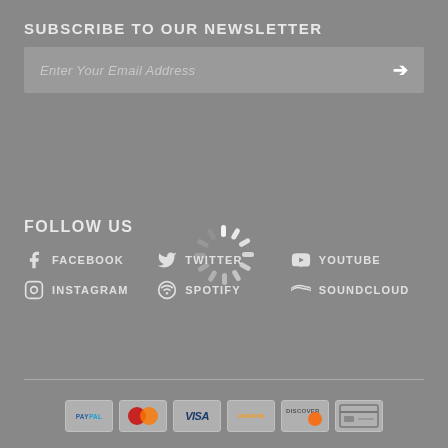SUBSCRIBE TO OUR NEWSLETTER
Enter Your Email Address
[Figure (infographic): Loading spinner / circular progress indicator with radial dashes in white/light gray]
FOLLOW US
FACEBOOK
TWITTER
YOUTUBE
INSTAGRAM
SPOTIFY
SOUNDCLOUD
[Figure (other): Payment method icons: PayPal, Mastercard, Visa, Amazon, Discover, and one more card logo]